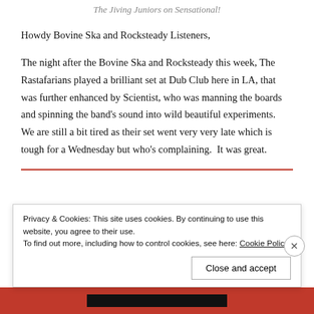The Jiving Juniors on Sensational!
Howdy Bovine Ska and Rocksteady Listeners,
The night after the Bovine Ska and Rocksteady this week, The Rastafarians played a brilliant set at Dub Club here in LA, that was further enhanced by Scientist, who was manning the boards and spinning the band's sound into wild beautiful experiments.  We are still a bit tired as their set went very very late which is tough for a Wednesday but who's complaining.  It was great.
Privacy & Cookies: This site uses cookies. By continuing to use this website, you agree to their use. To find out more, including how to control cookies, see here: Cookie Policy